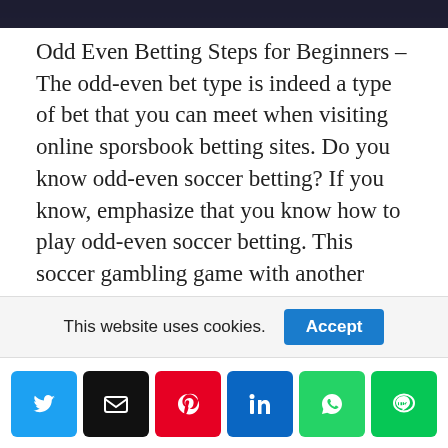[Figure (photo): Dark image strip at the top of the page, appears to be part of a sports/soccer-related photo]
Odd Even Betting Steps for Beginners – The odd-even bet type is indeed a type of bet that you can meet when visiting online sporsbook betting sites. Do you know odd-even soccer betting? If you know, emphasize that you know how to play odd-even soccer betting. This soccer gambling game with another name, odd even has the same idea as over under. The number of goals is the object at stake in this game. You must guess the number of goals in order to win.
But the important thing is that you can get o...
This website uses cookies.
Accept
[Figure (infographic): Social share bar with Twitter, Email, Pinterest, LinkedIn, WhatsApp, and LINE buttons]